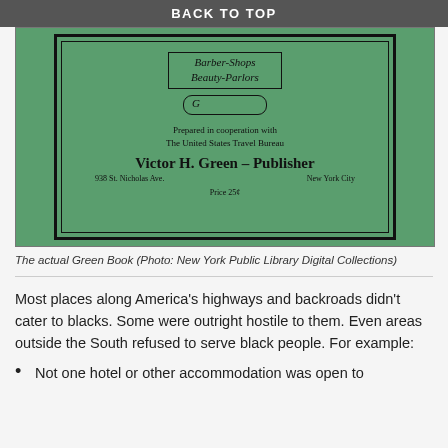BACK TO TOP
[Figure (photo): Cover of the actual Green Book showing 'Barber-Shops, Beauty-Parlors', a scroll ornament, text 'Prepared in cooperation with The United States Travel Bureau', 'Victor H. Green – Publisher', '938 St. Nicholas Ave., New York City', 'Price 25¢', on a green background.]
The actual Green Book (Photo: New York Public Library Digital Collections)
Most places along America's highways and backroads didn't cater to blacks. Some were outright hostile to them. Even areas outside the South refused to serve black people. For example:
Not one hotel or other accommodation was open to